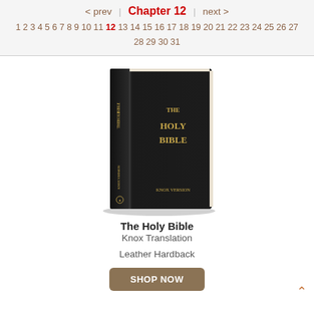< prev | Chapter 12 | next > 1 2 3 4 5 6 7 8 9 10 11 12 13 14 15 16 17 18 19 20 21 22 23 24 25 26 27 28 29 30 31
[Figure (photo): A black leather hardback Bible with gold lettering on the cover and spine reading THE HOLY BIBLE, Knox Version]
The Holy Bible
Knox Translation

Leather Hardback
SHOP NOW